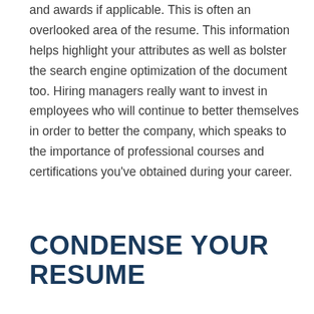and awards if applicable. This is often an overlooked area of the resume. This information helps highlight your attributes as well as bolster the search engine optimization of the document too. Hiring managers really want to invest in employees who will continue to better themselves in order to better the company, which speaks to the importance of professional courses and certifications you've obtained during your career.
CONDENSE YOUR RESUME